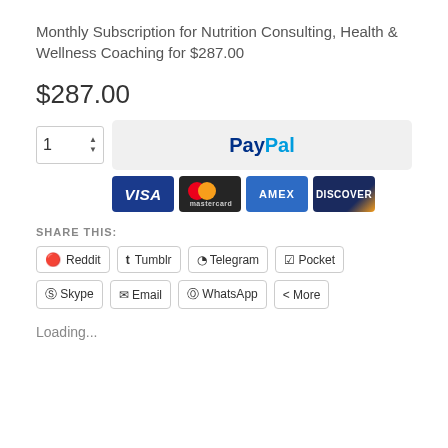Monthly Subscription for Nutrition Consulting, Health & Wellness Coaching for $287.00
$287.00
[Figure (screenshot): Quantity selector showing '1' with up/down arrows, PayPal button, and credit card logos: VISA, Mastercard, AMEX, DISCOVER]
SHARE THIS:
Reddit
Tumblr
Telegram
Pocket
Skype
Email
WhatsApp
More
Loading...